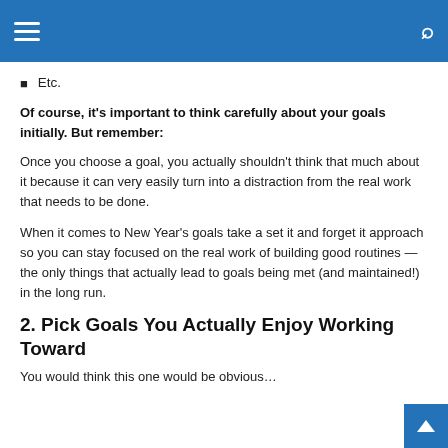Etc.
Of course, it's important to think carefully about your goals initially. But remember:
Once you choose a goal, you actually shouldn't think that much about it because it can very easily turn into a distraction from the real work that needs to be done.
When it comes to New Year's goals take a set it and forget it approach so you can stay focused on the real work of building good routines — the only things that actually lead to goals being met (and maintained!) in the long run.
2. Pick Goals You Actually Enjoy Working Toward
You would think this one would be obvious…